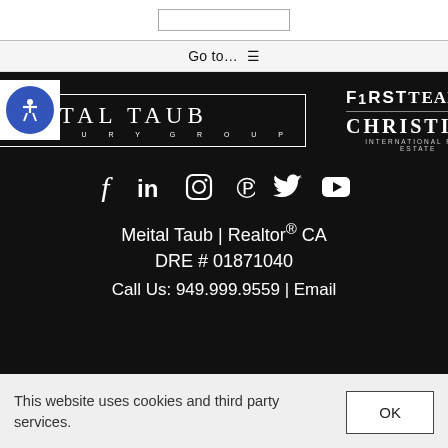Go to…  ☰
[Figure (logo): Meital Taub Luxury Group logo with FirstTeam Christie's International Real Estate branding on black background]
[Figure (illustration): Row of social media icons: Facebook, LinkedIn, Instagram, Pinterest, Twitter/X, YouTube — white icons on black]
Meital Taub | Realtor® CA DRE # 01871040
Call Us: 949.999.9559 | Email
This website uses cookies and third party services.